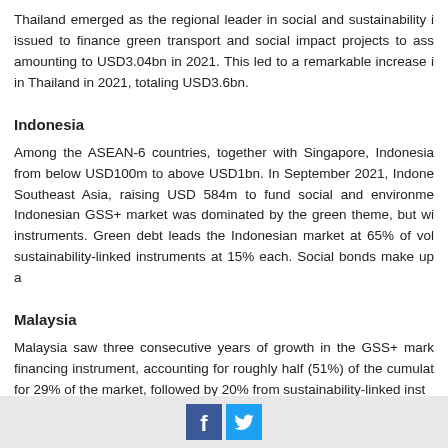Thailand emerged as the regional leader in social and sustainability issued to finance green transport and social impact projects to ass amounting to USD3.04bn in 2021. This led to a remarkable increase in Thailand in 2021, totaling USD3.6bn.
Indonesia
Among the ASEAN-6 countries, together with Singapore, Indonesia from below USD100m to above USD1bn. In September 2021, Indone Southeast Asia, raising USD 584m to fund social and environme Indonesian GSS+ market was dominated by the green theme, but wi instruments. Green debt leads the Indonesian market at 65% of vol sustainability-linked instruments at 15% each. Social bonds make up a
Malaysia
Malaysia saw three consecutive years of growth in the GSS+ mark financing instrument, accounting for roughly half (51%) of the cumulat for 29% of the market, followed by 20% from sustainability-linked inst
Social media icons: Facebook, Twitter